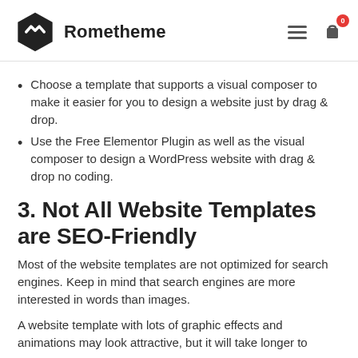Rometheme
Choose a template that supports a visual composer to make it easier for you to design a website just by drag & drop.
Use the Free Elementor Plugin as well as the visual composer to design a WordPress website with drag & drop no coding.
3. Not All Website Templates are SEO-Friendly
Most of the website templates are not optimized for search engines. Keep in mind that search engines are more interested in words than images.
A website template with lots of graphic effects and animations may look attractive, but it will take longer to